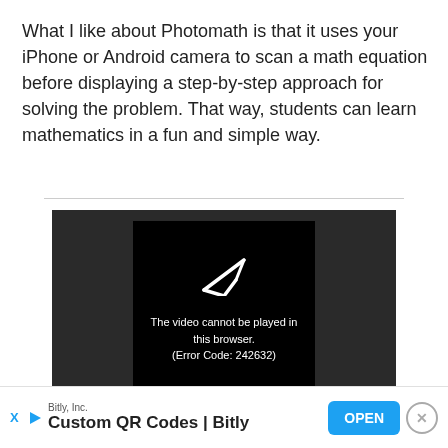What I like about Photomath is that it uses your iPhone or Android camera to scan a math equation before displaying a step-by-step approach for solving the problem. That way, students can learn mathematics in a fun and simple way.
[Figure (screenshot): Video player showing error message: 'The video cannot be played in this browser. (Error Code: 242632)' on a dark background with a broken play icon.]
[Figure (infographic): Advertisement bar for Bitly, Inc. showing 'Custom QR Codes | Bitly' with an OPEN button, X social icon, and a close button.]